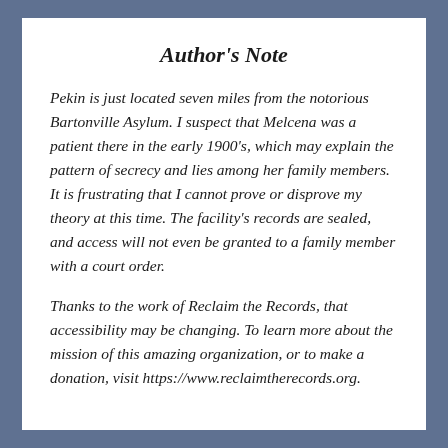Author's Note
Pekin is just located seven miles from the notorious Bartonville Asylum. I suspect that Melcena was a patient there in the early 1900's, which may explain the pattern of secrecy and lies among her family members. It is frustrating that I cannot prove or disprove my theory at this time. The facility's records are sealed, and access will not even be granted to a family member with a court order.
Thanks to the work of Reclaim the Records, that accessibility may be changing. To learn more about the mission of this amazing organization, or to make a donation, visit https://www.reclaimtherecords.org.